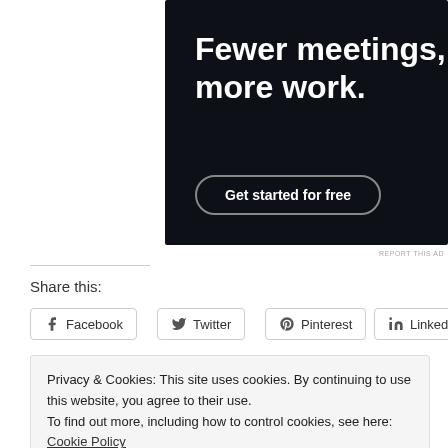[Figure (illustration): Dark navy advertisement banner with white bold text 'Fewer meetings, more work.' and a rounded button 'Get started for free']
REPORT THIS AD
Share this:
Facebook
Twitter
Pinterest
LinkedIn
Privacy & Cookies: This site uses cookies. By continuing to use this website, you agree to their use.
To find out more, including how to control cookies, see here: Cookie Policy
Close and accept